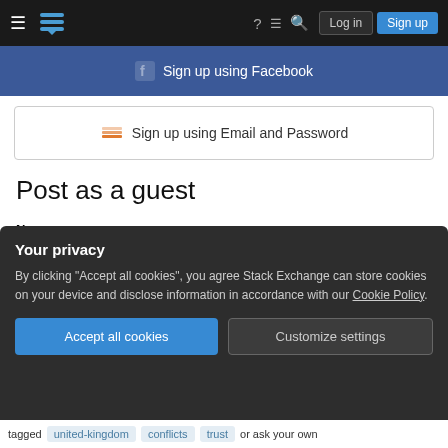Stack Exchange navigation bar with Log in and Sign up buttons
[Figure (screenshot): Sign up using Facebook button (blue background)]
[Figure (screenshot): Sign up using Email and Password button (white with border)]
Post as a guest
Name
[Figure (screenshot): Name input text field (empty)]
Email
Required, but never shown
[Figure (screenshot): Email input text field (empty)]
Your privacy
By clicking "Accept all cookies", you agree Stack Exchange can store cookies on your device and disclose information in accordance with our Cookie Policy.
Accept all cookies   Customize settings
tagged  united-kingdom  conflicts  trust  or ask your own